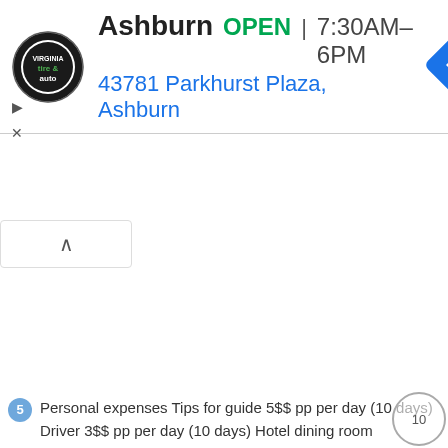[Figure (infographic): Advertisement banner for a Virginia Tire & Auto location in Ashburn. Circular logo with 'tire & auto' text on left. Text shows 'Ashburn OPEN 7:30AM–6PM' and address '43781 Parkhurst Plaza, Ashburn'. Blue navigation diamond icon on right.]
[Figure (infographic): Collapse/chevron-up tab button below the ad banner]
5 Personal expenses Tips for guide 5$$ pp per day (10 days) Driver 3$$ pp per day (10 days) Hotel dining room